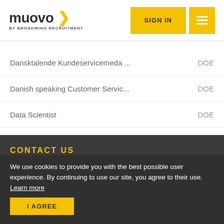muovo > BY BROADWING RECRUITMENT | SIGN IN
Dansktalende Kundeservicemeda ... DOE
Danish speaking Customer Servic... DOE
Data Scientist DOE
CRM Performance Manager DOE
CONTACT US
We use cookies to provide you with the best possible user experience. By continuing to use our site, you agree to their use. Learn more
+356 2017 3007 or +356 [partially obscured]
info@muovo.eu
I AGREE